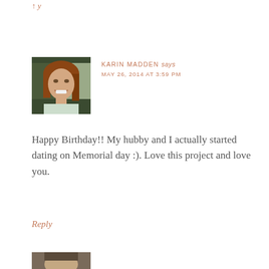↑ y
[Figure (photo): Headshot of a woman with reddish-brown hair, smiling, outdoors.]
KARIN MADDEN says
MAY 26, 2014 AT 3:59 PM
Happy Birthday!! My hubby and I actually started dating on Memorial day :). Love this project and love you.
Reply
[Figure (photo): Partial view of another avatar photo at the bottom of the page.]